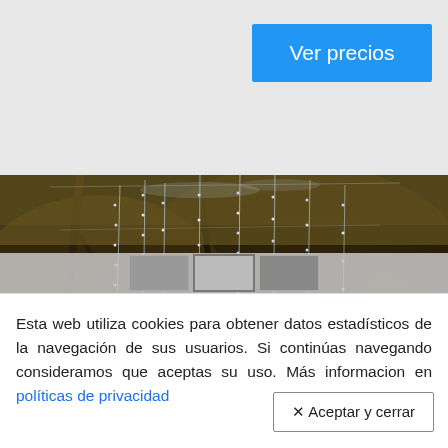Ver precios
[Figure (photo): Night photo of trees with hanging chain lights or bioluminescent strands in a dark forest setting, with green foliage visible in the lower right corner]
Esta web utiliza cookies para obtener datos estadísticos de la navegación de sus usuarios. Si continúas navegando consideramos que aceptas su uso. Más informacion en políticas de privacidad
✕ Aceptar y cerrar